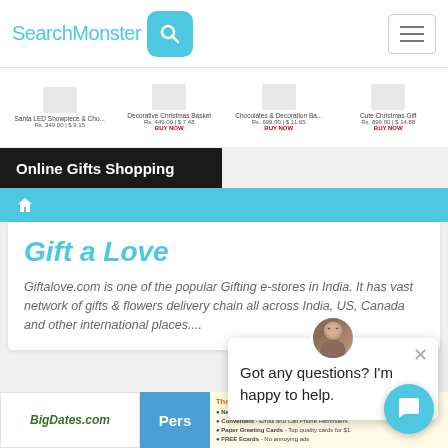SearchMonster [search icon] [hamburger menu]
[Figure (screenshot): Product strip showing Christmas gift items: Santa LED Showpiece & Cho... Rs. 349.00 | $9.15, Decorative Christmas Basket Rs. 449.00 | $7.48 BUY NOW, Chocolates & Decoration Ba... Rs. 699.00 | $11.65 BUY NOW, Cute Christmas Gift Rs. 899.00 | $14.88 BUY NOW]
Online Gifts Shopping
[Figure (screenshot): Blue navigation bar with home icon]
Gift a Love
Giftalove.com is one of the popular Gifting e-stores in India. It has vast network of gifts & flowers delivery chain all across India, US, Canada and other international places....
[Figure (screenshot): Chat popup with avatar photo of a woman with glasses. Close X button. Text: Got any questions? I'm happy to help.]
[Figure (screenshot): Bottom section showing BigDates.com logo, Pers[onalized] label, and Thoughtfulness Made Easy section with bullet points: Never Forget - Reminders for birthdays, holidays & more; Convenient - Email and Call Phone Reminders; Paper Greeting Cards - Top quality cards for $1; FREE Ecards - No annoying ads]
[Figure (screenshot): Teal chat button with speech bubble icon at bottom right]